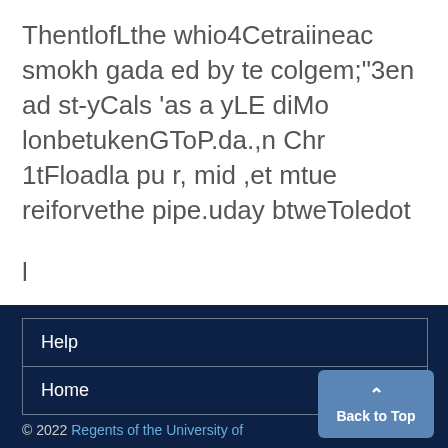ThentlofLthe whio4Cetraiineac smokh gada ed by te colgem;"3en ad st-yCals 'as a yLE diMo lonbetukenGToP.da.,n Chr 1tFloadla pu r, mid ,et mtue reiforvethe pipe.uday btweToledot
l
Help
Home
© 2022 Regents of the University of